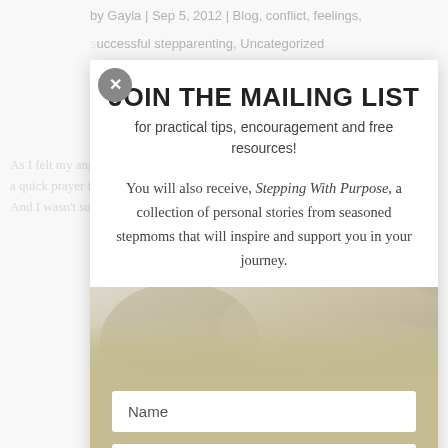by Gayla | Sep 5, 2012 | Blog, conflict, feelings, successful stepparenting, Uncategorized
As I felt my anger begin to settle down before I said something I shouldn't, I said a quick prayer for calm my soul as I could feel. Undiluted my anger was boiling. And I wasn't sure how to proceed with the conversation. I was in a heated
JOIN THE MAILING LIST
for practical tips, encouragement and free resources!
You will also receive, Stepping With Purpose, a collection of personal stories from seasoned stepmoms that will inspire and support you in your journey.
[Figure (photo): Blurred background photo of a person, used as decorative image behind mailing list form]
Name
Email